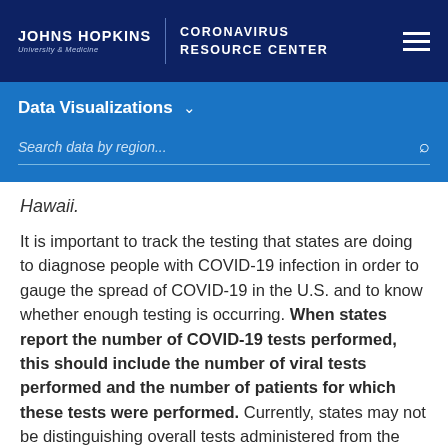JOHNS HOPKINS UNIVERSITY & MEDICINE | CORONAVIRUS RESOURCE CENTER
Data Visualizations
Search data by region...
Hawaii.
It is important to track the testing that states are doing to diagnose people with COVID-19 infection in order to gauge the spread of COVID-19 in the U.S. and to know whether enough testing is occurring. When states report the number of COVID-19 tests performed, this should include the number of viral tests performed and the number of patients for which these tests were performed. Currently, states may not be distinguishing overall tests administered from the number of individuals who have been tested. This is an important limitation to the data that is available to